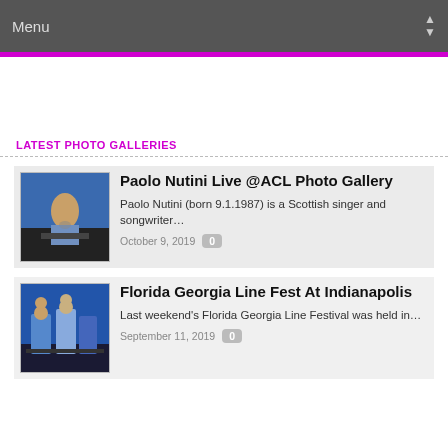Menu
LATEST PHOTO GALLERIES
Paolo Nutini Live @ACL Photo Gallery
Paolo Nutini (born 9.1.1987) is a Scottish singer and songwriter…
October 9, 2019   0
Florida Georgia Line Fest At Indianapolis
Last weekend's Florida Georgia Line Festival was held in…
September 11, 2019   0